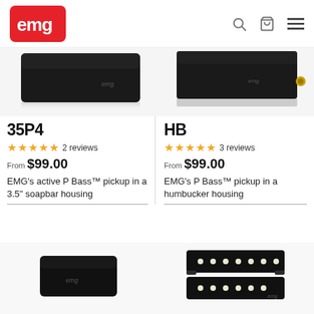EMG Pickups
[Figure (photo): EMG 35P4 bass pickup (cropped, top view), black with EMG logo]
[Figure (photo): EMG HB bass pickup (cropped, angled view), black with EMG logo and gold output jack]
35P4
★★★★★ 2 reviews
From $99.00
EMG's active P Bass™ pickup in a 3.5" soapbar housing
HB
★★★★★ 3 reviews
From $99.00
EMG's P Bass™ pickup in a humbucker housing
[Figure (photo): EMG bass pickup (small, black rectangular soapbar) with EMG logo, bottom-left]
[Figure (photo): EMG bass pickup (split-coil J-style, black) with cream pole pieces, bottom-right]